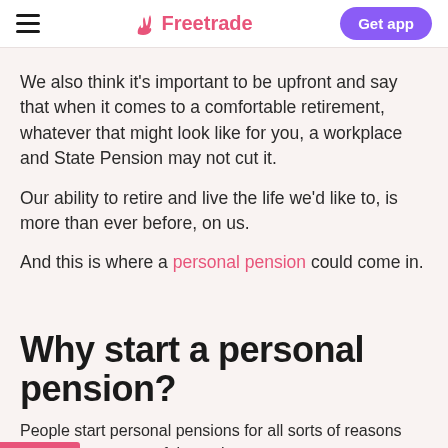Freetrade — Get app
We also think it's important to be upfront and say that when it comes to a comfortable retirement, whatever that might look like for you, a workplace and State Pension may not cut it.
Our ability to retire and live the life we'd like to, is more than ever before, on us.
And this is where a personal pension could come in.
Why start a personal pension?
People start personal pensions for all sorts of reasons but here are some of the main ones.